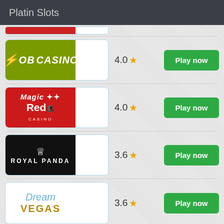Platin Slots
[Figure (screenshot): Bob Casino logo - green background with yellow lightning bolt and white text BOB CASINO]
4.0 ★
Play now
[Figure (screenshot): Magic Red Casino logo - red background with white text Magic Red Casino]
4.0 ★
Play now
[Figure (screenshot): Royal Panda Casino logo - black background with crown and Royal Panda text]
3.6 ★
Play now
[Figure (screenshot): Dream Vegas Casino logo - white background with blue script Dream and gold VEGAS text]
3.6 ★
Play now
[Figure (screenshot): Partial casino logo at bottom - orange/brown background, partially cropped]
3.5 ★
Play now